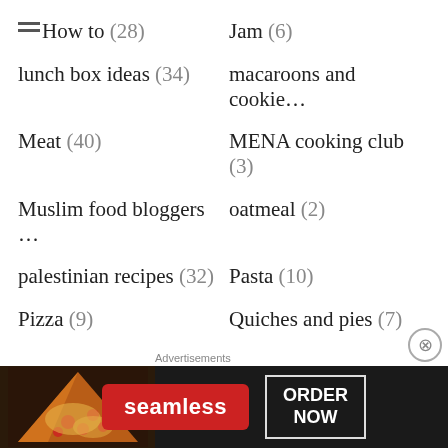How to (28)
Jam (6)
lunch box ideas (34)
macaroons and cookie...
Meat (40)
MENA cooking club (3)
Muslim food bloggers ...
oatmeal (2)
palestinian recipes (32)
Pasta (10)
Pizza (9)
Quiches and pies (7)
Quinoa (8)
Rice (22)
Salad (55)
Sandwiches (18)
Secret recipe club (40)
Soup (19)
Sourdough (13)
Travel (9)
[Figure (screenshot): Advertisement banner for Seamless food ordering with pizza photo, Seamless logo in red, and ORDER NOW button]